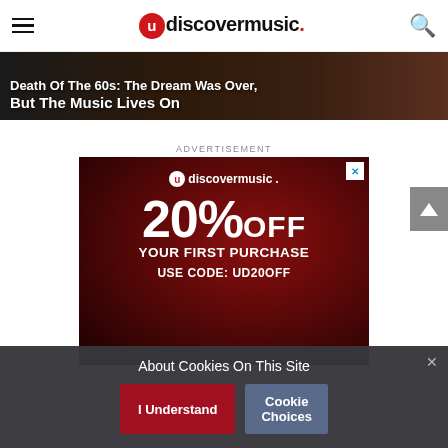udiscovermusic.
[Figure (photo): Dark hero banner with text: 'Death Of The 60s: The Dream Was Over, But The Music Lives On']
ADVERTISEMENT
[Figure (infographic): uDiscoverMusic advertisement on dark red vinyl record background: 20% OFF YOUR FIRST PURCHASE USE CODE: UD20OFF]
About Cookies On This Site
I Understand
Cookie Choices